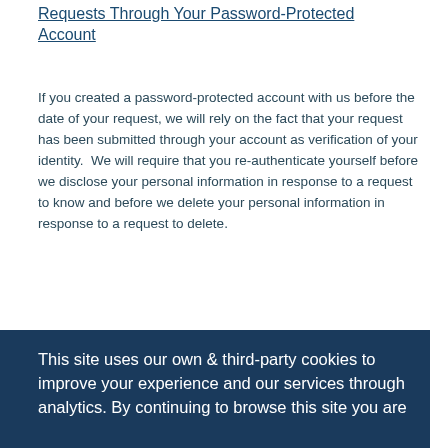Requests Through Your Password-Protected Account
If you created a password-protected account with us before the date of your request, we will rely on the fact that your request has been submitted through your account as verification of your identity.  We will require that you re-authenticate yourself before we disclose your personal information in response to a request to know and before we delete your personal information in response to a request to delete.
You are responsible for protecting the security of your log-in credentials for your account.  Please do not share your log-in credentials with anyone.  If we suspect fraudulent or malicious activity on or from your account, we will not [continue processing your requests associated with it] until [we can verify your identity and] ion
This site uses our own & third-party cookies to improve your experience and our services through analytics. By continuing to browse this site you are